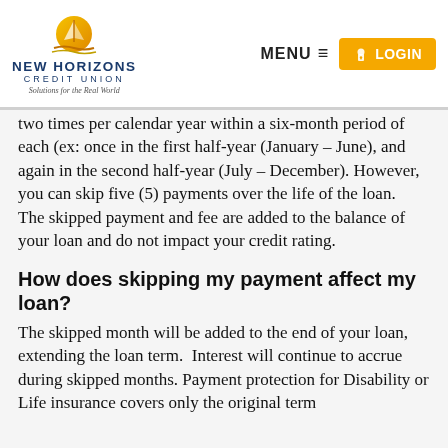New Horizons Credit Union — Solutions for the Real World | MENU | LOGIN
two times per calendar year within a six-month period of each (ex: once in the first half-year (January – June), and again in the second half-year (July – December). However, you can skip five (5) payments over the life of the loan.  The skipped payment and fee are added to the balance of your loan and do not impact your credit rating.
How does skipping my payment affect my loan?
The skipped month will be added to the end of your loan, extending the loan term.  Interest will continue to accrue during skipped months. Payment protection for Disability or Life insurance covers only the original term